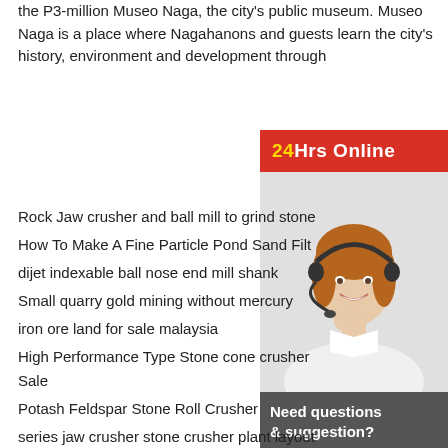the P3-million Museo Naga, the city's public museum. Museo Naga is a place where Nagahanons and guests learn the city's history, environment and development through
Rock Jaw crusher and ball mill to grind stone
How To Make A Fine Particle Pond Sand Filt
dijet indexable ball nose end mill shank
Small quarry gold mining without mercury
iron ore land for sale malaysia
High Performance Type Stone cone crusher Sale
Potash Feldspar Stone Roll Crusher
series jaw crusher stone crusher plant layout
jaw crusher which standard for mining
quartz crushing equipment in africa
used concrete block making machine in Rwanda
[Figure (other): 24Hrs Online chat widget with a female customer service representative wearing a headset, with a 'Need questions & suggestion?' prompt and a 'Chat Now' button]